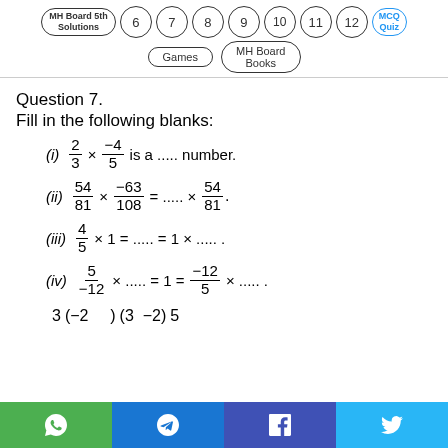[Figure (infographic): Navigation bar with circled numbers 6,7,8,9,10,11,12, MH Board 5th Solutions oval, Games oval, MH Board Books oval, MCQ Quiz oval]
Question 7.
Fill in the following blanks:
[Figure (infographic): Bottom social share bar with WhatsApp, Telegram, Facebook, Twitter buttons]